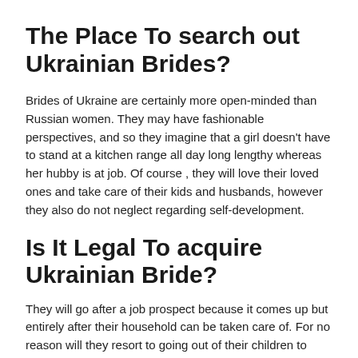The Place To search out Ukrainian Brides?
Brides of Ukraine are certainly more open-minded than Russian women. They may have fashionable perspectives, and so they imagine that a girl doesn't have to stand at a kitchen range all day long lengthy whereas her hubby is at job. Of course , they will love their loved ones and take care of their kids and husbands, however they also do not neglect regarding self-development.
Is It Legal To acquire Ukrainian Bride?
They will go after a job prospect because it comes up but entirely after their household can be taken care of. For no reason will they resort to going out of their children to babysitters all day long simply to make a career complete. That's entirely unacceptable for them and indeed refreshing to American guys used to coping with emancipated and self-sufficient girls. Building on their clean magnificence, Ukrainian girls meant for marriage make an effort